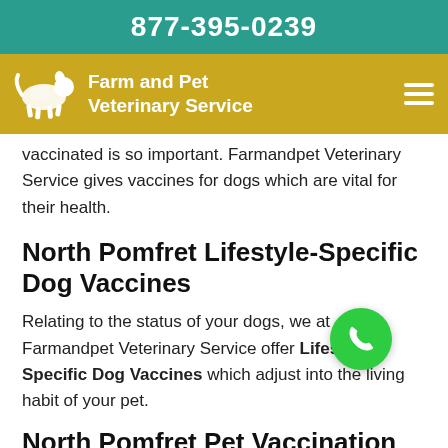877-395-0239
[Figure (logo): Farm and Pet Veterinary Service logo with animal silhouette on gold/mustard navigation bar]
vaccinated is so important. Farmandpet Veterinary Service gives vaccines for dogs which are vital for their health.
North Pomfret Lifestyle-Specific Dog Vaccines
Relating to the status of your dogs, we at Farmandpet Veterinary Service offer Lifestyle-Specific Dog Vaccines which adjust into the living habit of your pet.
North Pomfret Pet Vaccination Clinic
Farmandpet Veterinary Service's veterinarians will help you Keep Your Pet Healthy and avoid illnesses by